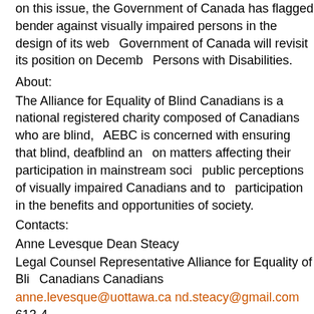on this issue, the Government of Canada has flagged be... against visually impaired persons in the design of its web... Government of Canada will revisit its position on Decemb... Persons with Disabilities.
About:
The Alliance for Equality of Blind Canadians is a national registered charity composed of Canadians who are blind, AEBC is concerned with ensuring that blind, deafblind an... on matters affecting their participation in mainstream soci... public perceptions of visually impaired Canadians and to... participation in the benefits and opportunities of society.
Contacts:
Anne Levesque Dean Steacy
Legal Counsel Representative Alliance for Equality of Bli... Canadians Canadians
anne.levesque@uottawa.ca nd.steacy@gmail.com 613-4...
Background: In 2019, the Alliance for Equality of Blind Ca... Canadian Human Rights Commission raising concerns ov... platform used by a federal website for a grant-funding ap...